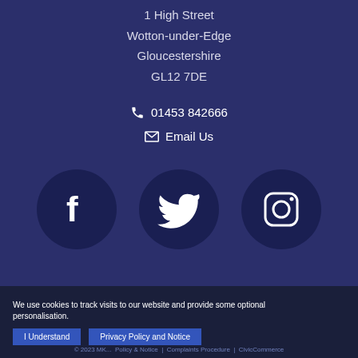1 High Street
Wotton-under-Edge
Gloucestershire
GL12 7DE
01453 842666
Email Us
[Figure (illustration): Three circular social media icons on dark navy circles: Facebook (f), Twitter (bird), Instagram (camera)]
We use cookies to track visits to our website and provide some optional personalisation.
I Understand
Privacy Policy and Notice
© 2023 MK... Policy & Notice | Complaints Procedure | CivicCommerce